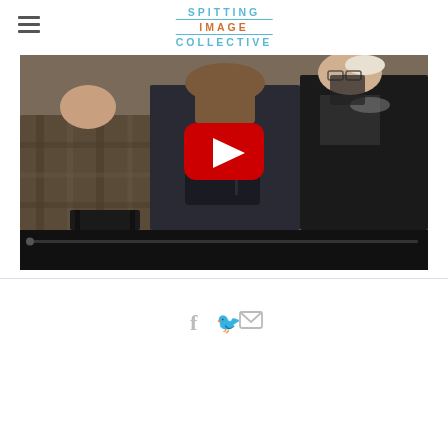SPITTING IMAGE COLLECTIVE
[Figure (screenshot): YouTube video thumbnail showing people seated from behind in what appears to be a music rehearsal or event space, with a YouTube play button overlay in the center]
[Figure (infographic): Social sharing icons: Facebook (f), Twitter (bird), and Email (envelope) in light gray]